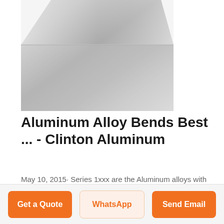[Figure (photo): Aluminum sheet metal plate photographed from above, showing a metallic reflective surface with gradient shading]
Aluminum Alloy Bends Best ... - Clinton Aluminum
May 10, 2015· Series 1xxx are the Aluminum alloys with 99.00% pure aluminum. They have little structural value. ... Series 2xxx and 7xxx are not to be considered and thus should be avoided due to being extremely strong. They are difficult to form in any way. Top 3 Aluminum Alloys For Bending. 1. 3003. This would be the best solution for most application ...